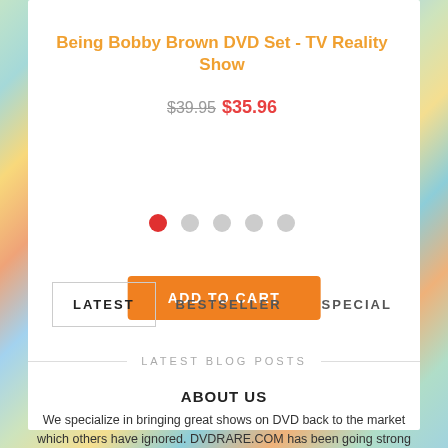Being Bobby Brown DVD Set - TV Reality Show
$39.95 $35.96
ADD TO CART
[Figure (other): Navigation dots: one red active dot followed by four gray inactive dots]
LATEST   BESTSELLER   SPECIAL
LATEST BLOG POSTS
ABOUT US
We specialize in bringing great shows on DVD back to the market which others have ignored. DVDRARE.COM has been going strong now since 2009 working to bring the shows we all remember and love.